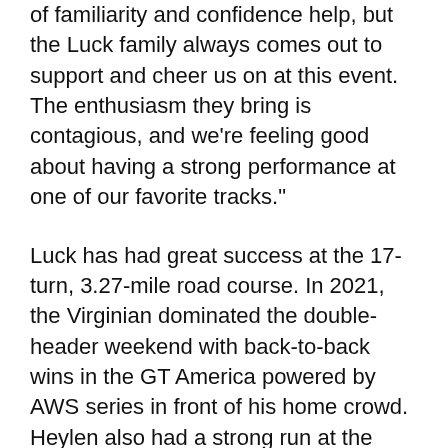of familiarity and confidence help, but the Luck family always comes out to support and cheer us on at this event. The enthusiasm they bring is contagious, and we're feeling good about having a strong performance at one of our favorite tracks."
Luck has had great success at the 17-turn, 3.27-mile road course. In 2021, the Virginian dominated the double-header weekend with back-to-back wins in the GT America powered by AWS series in front of his home crowd. Heylen also had a strong run at the circuit last year in GT World Challenge America, scoring a pair of second-place finishes with then co-driver Fred Poordad. The pair competed in the 24